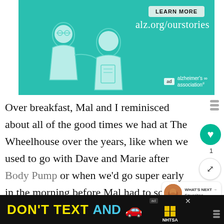[Figure (illustration): Advertisement for Alzheimer's Association showing illustrated elderly figures on teal background with 'LEARN MORE' button and 'alz.org/ourstories' URL and Alzheimer's Association logo]
Over breakfast, Mal and I reminisced about all of the good times we had at The Wheelhouse over the years, like when we used to go with Dave and Marie after Body Pump or when we'd go super early in the morning before Mal had to school and sit with all of the old guys at the co...
[Figure (screenshot): Bottom advertisement: DON'T TEXT AND [car emoji] with NHTSA logo on dark background]